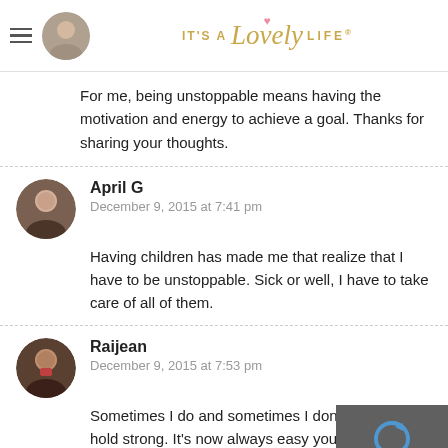It's A Lovely Life
For me, being unstoppable means having the motivation and energy to achieve a goal. Thanks for sharing your thoughts.
April G
December 9, 2015 at 7:41 pm
Having children has made me that realize that I have to be unstoppable. Sick or well, I have to take care of all of them.
Raijean
December 9, 2015 at 7:53 pm
Sometimes I do and sometimes I don't. I just try hold strong. It's now always easy you have to keep going.